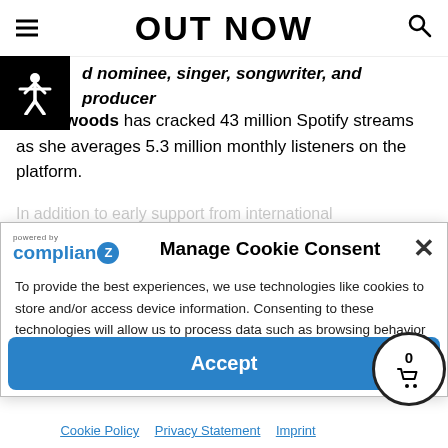OUT NOW
d nominee, singer, songwriter, and producer enjan woods has cracked 43 million Spotify streams as she averages 5.3 million monthly listeners on the platform.
In addition to early support from international
[Figure (infographic): Cookie consent dialog with Complian(Z) logo, Manage Cookie Consent title, close button, and description text about cookies and data processing.]
Related Posts
Accept
Cookie Policy   Privacy Statement   Imprint